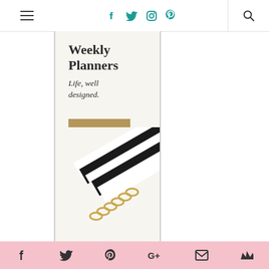Navigation header with hamburger menu, social icons (Facebook, Twitter, Instagram, Pinterest), and search icon
[Figure (illustration): Weekly Planners advertisement: title 'Weekly Planners', subtitle 'Life, well designed.', tan/gold SHOP ONLINE button, and photo of a spiral-bound planner with black and white striped cover and gold wire binding]
Social share bar with icons: Facebook, Twitter, Pinterest, Google+, Email, Crown/Bloglovin